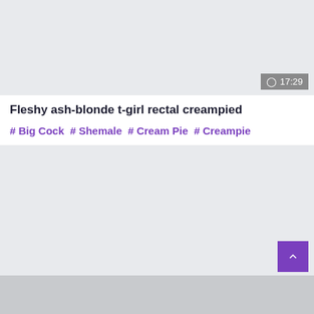[Figure (screenshot): Video thumbnail area with light gray background]
17:29 (duration badge)
Fleshy ash-blonde t-girl rectal creampied
#Big Cock #Shemale #Cream Pie #Creampie